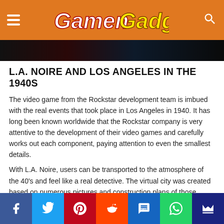GamenGadgets
[Figure (photo): Dark hero image showing a person/character, partially visible at top of article]
L.A. NOIRE AND LOS ANGELES IN THE 1940S
The video game from the Rockstar development team is imbued with the real events that took place in Los Angeles in 1940. It has long been known worldwide that the Rockstar company is very attentive to the development of their video games and carefully works out each component, paying attention to even the smallest details.
With L.A. Noire, users can be transported to the atmosphere of the 40’s and feel like a real detective. The virtual city was created based on numerous pictures and construction plans of those times. In addition, the work with dozens of historians and even the natives, who could tell a lot about the culture of life in Los
Social share bar: Facebook, Twitter, Pinterest, Reddit, SMS, WhatsApp, Crown